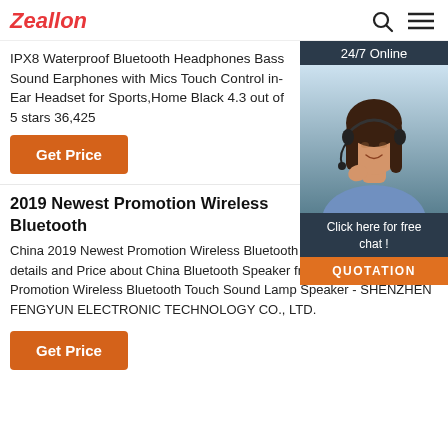Zeallon
IPX8 Waterproof Bluetooth Headphones Bass Sound Earphones with Mics Touch Control in-Ear Headset for Sports,Home Black 4.3 out of 5 stars 36,425
Get Price
[Figure (photo): Customer service representative woman wearing headset, with 24/7 Online label and chat widget overlay]
2019 Newest Promotion Wireless Bluetooth
China 2019 Newest Promotion Wireless Bluetooth Lamp Speaker, Find details and Price about China Bluetooth Speaker from 2019 Newest Promotion Wireless Bluetooth Touch Sound Lamp Speaker - SHENZHEN FENGYUN ELECTRONIC TECHNOLOGY CO., LTD.
Get Price